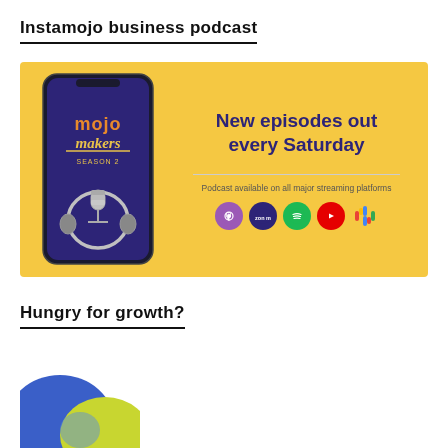Instamojo business podcast
[Figure (illustration): Mojo Makers Season 2 podcast promotional banner with a phone showing headphones and microphone on a yellow background. Text reads 'New episodes out every Saturday. Podcast available on all major streaming platforms.' with icons for Apple Podcasts, Amazon Music, Spotify, YouTube, and Google Podcasts.]
Hungry for growth?
[Figure (illustration): Partial view of a colorful illustration at the bottom of the page, showing a blue and yellow/green figure, partially cut off.]